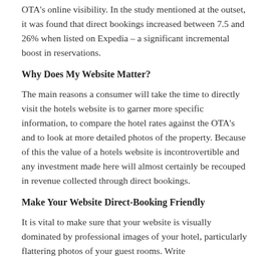OTA's online visibility. In the study mentioned at the outset, it was found that direct bookings increased between 7.5 and 26% when listed on Expedia – a significant incremental boost in reservations.
Why Does My Website Matter?
The main reasons a consumer will take the time to directly visit the hotels website is to garner more specific information, to compare the hotel rates against the OTA's and to look at more detailed photos of the property. Because of this the value of a hotels website is incontrovertible and any investment made here will almost certainly be recouped in revenue collected through direct bookings.
Make Your Website Direct-Booking Friendly
It is vital to make sure that your website is visually dominated by professional images of your hotel, particularly flattering photos of your guest rooms. Write